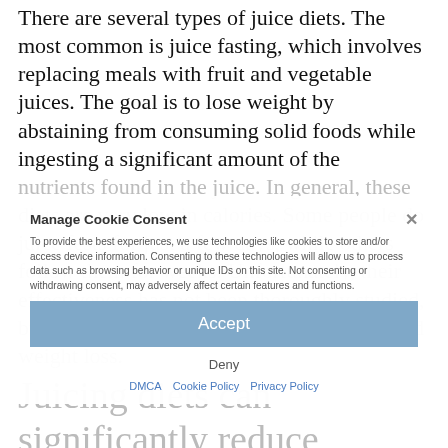There are several types of juice diets. The most common is juice fasting, which involves replacing meals with fruit and vegetable juices. The goal is to lose weight by abstaining from consuming solid foods while ingesting a significant amount of the nutrients found in the juice. In general, these diets are very low in calories. Some people do juice fests for just a few days, while others follow them for weeks. Unfortunately, their effectiveness has not been thoroughly studied, but many people claim that they provide rapid weight loss.
Manage Cookie Consent
To provide the best experiences, we use technologies like cookies to store and/or access device information. Consenting to these technologies will allow us to process data such as browsing behavior or unique IDs on this site. Not consenting or withdrawing consent, may adversely affect certain features and functions.
Accept
Deny
DMCA Cookie Policy Privacy Policy
Juicing diets can significantly reduce caloric intake.